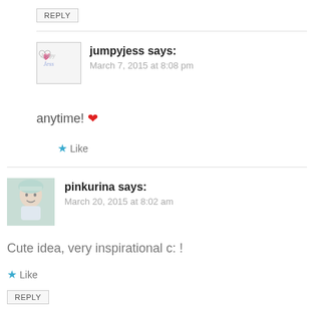REPLY
[Figure (logo): jumpyjess logo/avatar with handwritten style text]
jumpyjess says:
March 7, 2015 at 8:08 pm
anytime! ❤
Like
[Figure (photo): pinkurina avatar photo - person with light blue/white hat]
pinkurina says:
March 20, 2015 at 8:02 am
Cute idea, very inspirational c: !
Like
REPLY